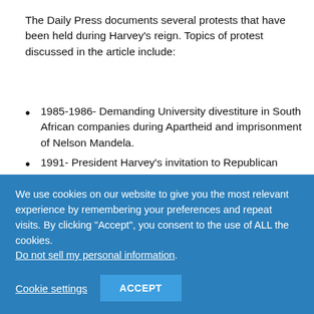The Daily Press documents several protests that have been held during Harvey's reign. Topics of protest discussed in the article include:
1985-1986- Demanding University divestiture in South African companies during Apartheid and imprisonment of Nelson Mandela.
1991- President Harvey's invitation to Republican President George H.W. Bush as the commencement speaker.
2003- The revelation of health code violations in the
We use cookies on our website to give you the most relevant experience by remembering your preferences and repeat visits. By clicking "Accept", you consent to the use of ALL the cookies.
Do not sell my personal information.